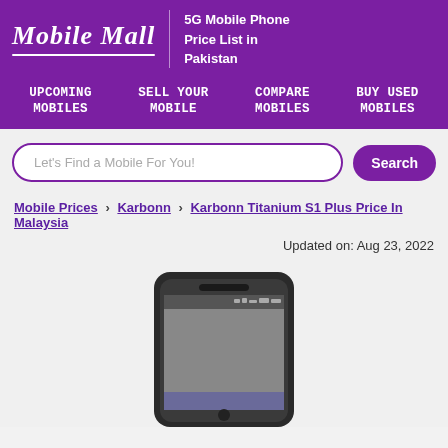Mobile Mall | 5G Mobile Phone Price List in Pakistan
Mobile Mall
5G Mobile Phone Price List in Pakistan
Upcoming Mobiles | Sell Your Mobile | Compare Mobiles | Buy Used Mobiles
Let's Find a Mobile For You!
Search
Mobile Prices > Karbonn > Karbonn Titanium S1 Plus Price In Malaysia
Updated on: Aug 23, 2022
[Figure (photo): Photo of Karbonn Titanium S1 Plus smartphone showing front of the device with a dark body and Android home screen visible]